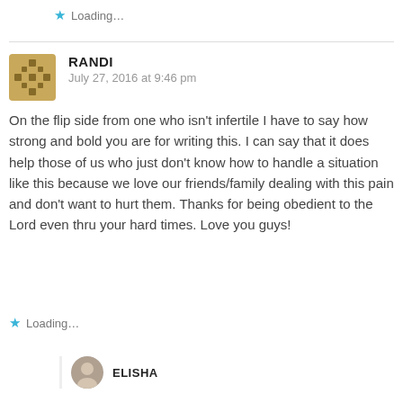Loading...
RANDI
July 27, 2016 at 9:46 pm
On the flip side from one who isn't infertile I have to say how strong and bold you are for writing this. I can say that it does help those of us who just don't know how to handle a situation like this because we love our friends/family dealing with this pain and don't want to hurt them. Thanks for being obedient to the Lord even thru your hard times. Love you guys!
Loading...
ELISHA